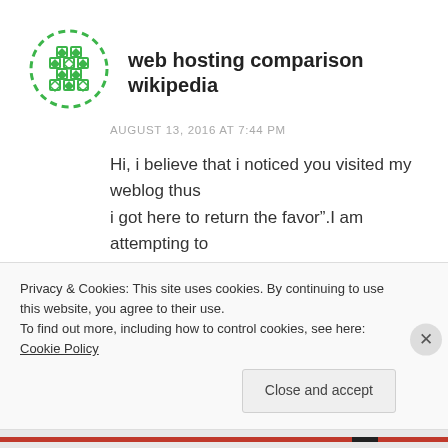[Figure (logo): Green geometric diamond/globe logo icon]
web hosting comparison wikipedia
AUGUST 13, 2016 AT 7:44 PM
Hi, i believe that i noticed you visited my weblog thus i got here to return the favor”.I am attempting to
Privacy & Cookies: This site uses cookies. By continuing to use this website, you agree to their use.
To find out more, including how to control cookies, see here: Cookie Policy
Close and accept